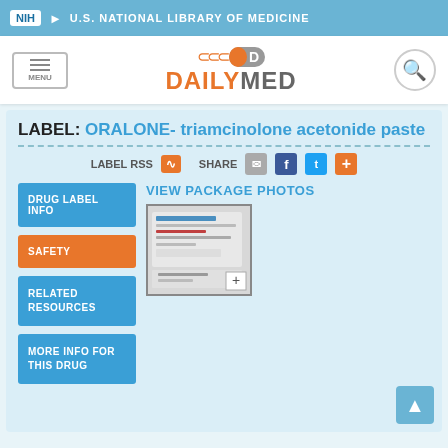NIH U.S. NATIONAL LIBRARY OF MEDICINE
[Figure (logo): DailyMed logo with orange pill icon, MENU button, and search icon]
LABEL: ORALONE- triamcinolone acetonide paste
LABEL RSS  SHARE
VIEW PACKAGE PHOTOS
[Figure (photo): Package photo thumbnail of Oralone triamcinolone acetonide paste with a plus button]
DRUG LABEL INFO
SAFETY
RELATED RESOURCES
MORE INFO FOR THIS DRUG